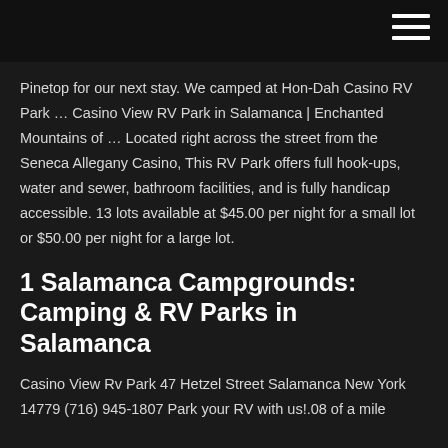Pinetop for our next stay. We camped at Hon-Dah Casino RV Park … Casino View RV Park in Salamanca | Enchanted Mountains of … Located right across the street from the Seneca Allegany Casino, This RV Park offers full hook-ups, water and sewer, bathroom facilities, and is fully handicap accessible. 13 lots available at $45.00 per night for a small lot or $50.00 per night for a large lot.
1 Salamanca Campgrounds: Camping & RV Parks in Salamanca
Casino View Rv Park 47 Hetzel Street Salamanca New York 14779 (716) 945-1807 Park your RV with us!.08 of a mile